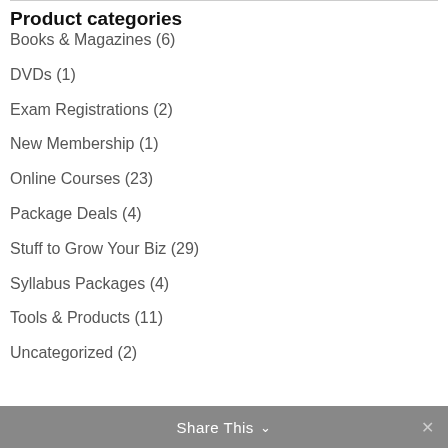Product categories
Books & Magazines (6)
DVDs (1)
Exam Registrations (2)
New Membership (1)
Online Courses (23)
Package Deals (4)
Stuff to Grow Your Biz (29)
Syllabus Packages (4)
Tools & Products (11)
Uncategorized (2)
Share This ∨  ✕